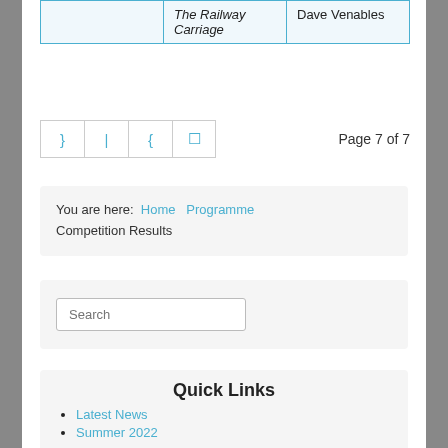|  |  |  |
| --- | --- | --- |
|  | The Railway Carriage | Dave Venables |
Page 7 of 7
You are here: Home » Programme » Competition Results
Search
Quick Links
Latest News
Summer 2022